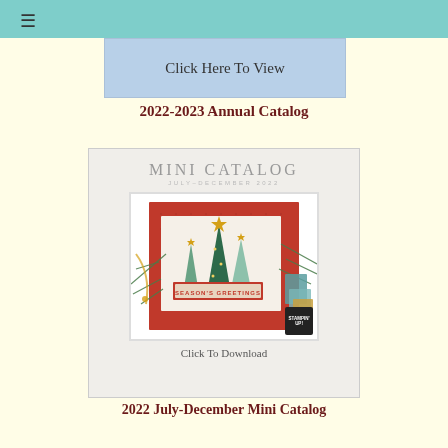≡
[Figure (screenshot): Catalog thumbnail showing 'Click Here To View' button with light blue background]
2022-2023 Annual Catalog
[Figure (photo): Stampin' Up! Mini Catalog July-December 2022 cover featuring a Christmas card with trees and 'Seasons Greetings', pine branches, and gold stars, with 'Click To Download' text]
2022 July-December Mini Catalog